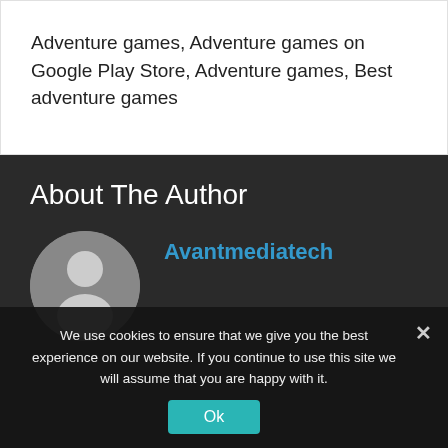Adventure games, Adventure games on Google Play Store, Adventure games, Best adventure games
About The Author
Avantmediatech
[Figure (illustration): Default user avatar — grey circle with white silhouette of a person (head and shoulders)]
We use cookies to ensure that we give you the best experience on our website. If you continue to use this site we will assume that you are happy with it.
Ok